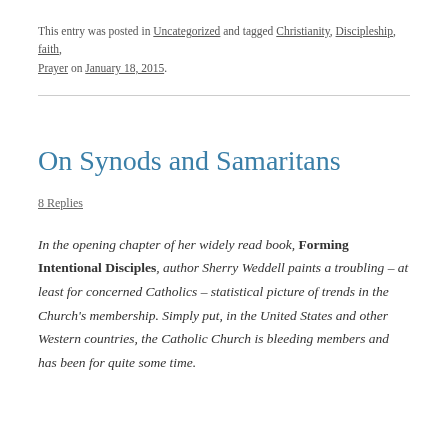This entry was posted in Uncategorized and tagged Christianity, Discipleship, faith, Prayer on January 18, 2015.
On Synods and Samaritans
8 Replies
In the opening chapter of her widely read book, Forming Intentional Disciples, author Sherry Weddell paints a troubling – at least for concerned Catholics – statistical picture of trends in the Church's membership. Simply put, in the United States and other Western countries, the Catholic Church is bleeding members and has been for quite some time.